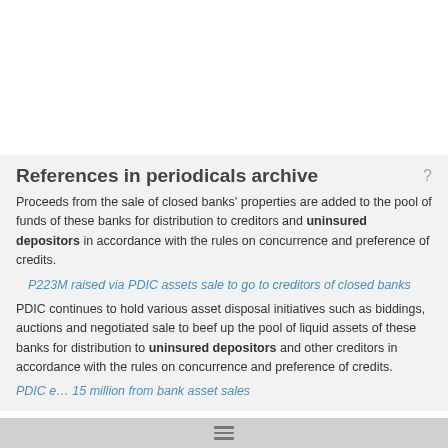References in periodicals archive
Proceeds from the sale of closed banks' properties are added to the pool of funds of these banks for distribution to creditors and uninsured depositors in accordance with the rules on concurrence and preference of credits.
P223M raised via PDIC assets sale to go to creditors of closed banks
PDIC continues to hold various asset disposal initiatives such as biddings, auctions and negotiated sale to beef up the pool of liquid assets of these banks for distribution to uninsured depositors and other creditors in accordance with the rules on concurrence and preference of credits.
PDIC e... 15 million from bank asset sales